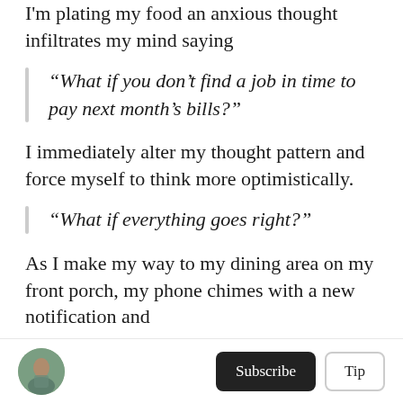I'm plating my food an anxious thought infiltrates my mind saying
“What if you don’t find a job in time to pay next month’s bills?”
I immediately alter my thought pattern and force myself to think more optimistically.
“What if everything goes right?”
As I make my way to my dining area on my front porch, my phone chimes with a new notification and